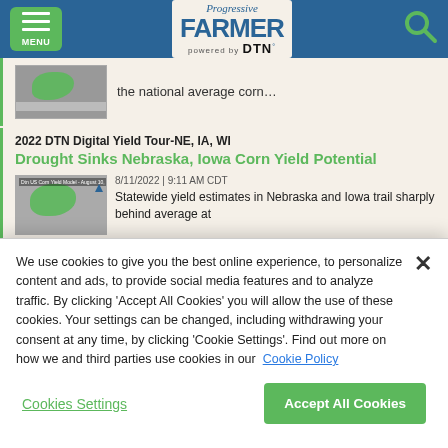Progressive Farmer powered by DTN — MENU header with search icon
the national average corn…
2022 DTN Digital Yield Tour-NE, IA, WI
Drought Sinks Nebraska, Iowa Corn Yield Potential
8/11/2022 | 9:11 AM CDT
Statewide yield estimates in Nebraska and Iowa trail sharply behind average at
We use cookies to give you the best online experience, to personalize content and ads, to provide social media features and to analyze traffic. By clicking 'Accept All Cookies' you will allow the use of these cookies. Your settings can be changed, including withdrawing your consent at any time, by clicking 'Cookie Settings'. Find out more on how we and third parties use cookies in our Cookie Policy
Cookies Settings
Accept All Cookies